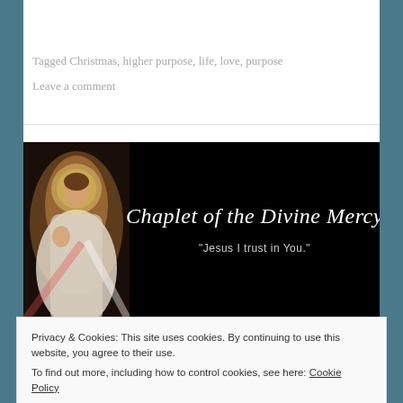Tagged Christmas, higher purpose, life, love, purpose
Leave a comment
[Figure (illustration): Banner image showing the Divine Mercy image of Jesus on the left side against a black background, with script text 'Chaplet of the Divine Mercy' and subtitle '"Jesus I trust in You."' on the right side.]
Privacy & Cookies: This site uses cookies. By continuing to use this website, you agree to their use.
To find out more, including how to control cookies, see here: Cookie Policy
Close and accept